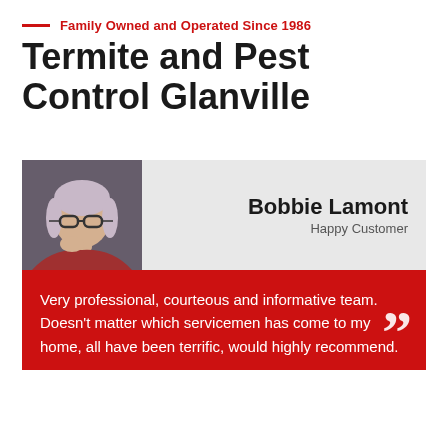Family Owned and Operated Since 1986
Termite and Pest Control Glanville
[Figure (photo): Portrait photo of Bobbie Lamont, a woman with glasses and light hair, smiling]
Bobbie Lamont
Happy Customer
Very professional, courteous and informative team. Doesn't matter which servicemen has come to my home, all have been terrific, would highly recommend.